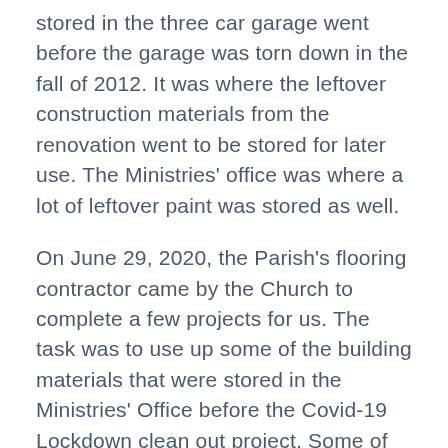stored in the three car garage went before the garage was torn down in the fall of 2012. It was where the leftover construction materials from the renovation went to be stored for later use. The Ministries' office was where a lot of leftover paint was stored as well.
On June 29, 2020, the Parish's flooring contractor came by the Church to complete a few projects for us. The task was to use up some of the building materials that were stored in the Ministries' Office before the Covid-19 Lockdown clean out project. Some of the office's leftover quarry tile was used to repair the missing tile baseboards in the outer Narthex. Two